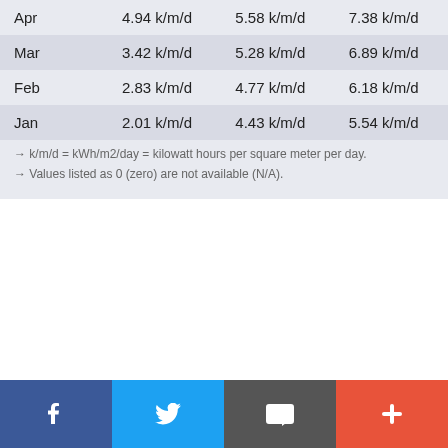| Apr | 4.94 k/m/d | 5.58 k/m/d | 7.38 k/m/d |
| Mar | 3.42 k/m/d | 5.28 k/m/d | 6.89 k/m/d |
| Feb | 2.83 k/m/d | 4.77 k/m/d | 6.18 k/m/d |
| Jan | 2.01 k/m/d | 4.43 k/m/d | 5.54 k/m/d |
→ k/m/d = kWh/m2/day = kilowatt hours per square meter per day.
→ Values listed as 0 (zero) are not available (N/A).
[Figure (other): Social sharing footer bar with four buttons: Facebook (blue), Twitter (light blue), Email (dark grey), and Add/More (orange-red).]